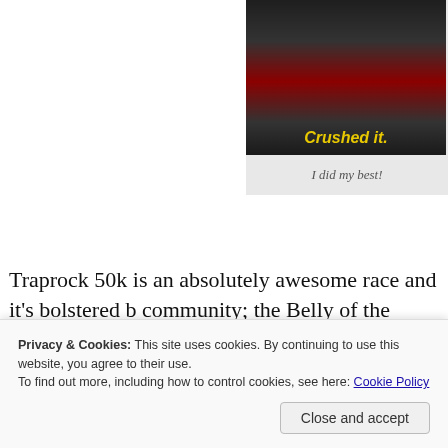[Figure (photo): A person wearing a dark jacket over a red top, with bold italic yellow text 'Crushed it.' overlaid at the bottom of the image, on a dark background.]
I did my best!
Traprock 50k is an absolutely awesome race and it's bolstered by community; the Belly of the Beast Coast is right here in Connecticut groups that call this state home- thanks for having me!
Privacy & Cookies: This site uses cookies. By continuing to use this website, you agree to their use.
To find out more, including how to control cookies, see here: Cookie Policy
Close and accept